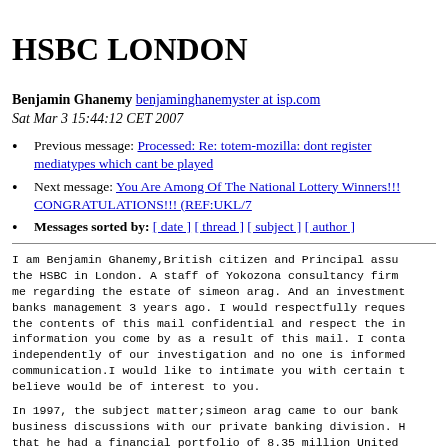HSBC LONDON
Benjamin Ghanemy benjaminghanemyster at isp.com
Sat Mar 3 15:44:12 CET 2007
Previous message: Processed: Re: totem-mozilla: dont register mediatypes which cant be played
Next message: You Are Among Of The National Lottery Winners!!! CONGRATULATIONS!!! (REF:UKL/7
Messages sorted by: [ date ] [ thread ] [ subject ] [ author ]
I am Benjamin Ghanemy,British citizen and Principal assu the HSBC in London. A staff of Yokozona consultancy firm me regarding the estate of simeon arag. And an investment banks management 3 years ago. I would respectfully reques the contents of this mail confidential and respect the in information you come by as a result of this mail. I conta independently of our investigation and no one is informed communication.I would like to intimate you with certain t believe would be of interest to you.
In 1997, the subject matter;simeon arag came to our bank business discussions with our private banking division. H that he had a financial portfolio of 8.35 million United which he wished to have us turn over (invest) on his beha